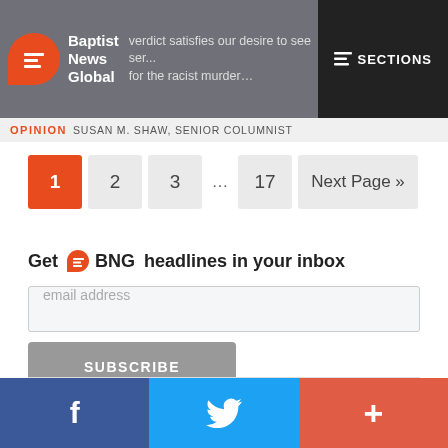Baptist News Global — OPINION SUSAN M. SHAW, SENIOR COLUMNIST — verdict satisfies our desire to see ser... for the racist murder...
1 2 3 ... 17 Next Page »
Get BNG headlines in your inbox
email address
SUBSCRIBE
Facebook Twitter +